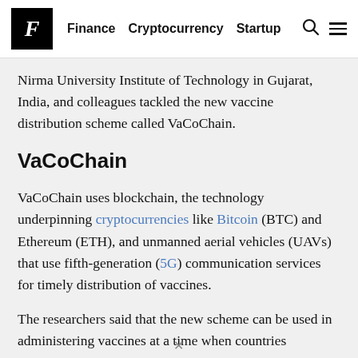F  Finance  Cryptocurrency  Startup
Nirma University Institute of Technology in Gujarat, India, and colleagues tackled the new vaccine distribution scheme called VaCoChain.
VaCoChain
VaCoChain uses blockchain, the technology underpinning cryptocurrencies like Bitcoin (BTC) and Ethereum (ETH), and unmanned aerial vehicles (UAVs) that use fifth-generation (5G) communication services for timely distribution of vaccines.
The researchers said that the new scheme can be used in administering vaccines at a time when countries worldwide continue to face challenges in their vaccination drive to protect their citizens from the COVID-19 virus. They said that